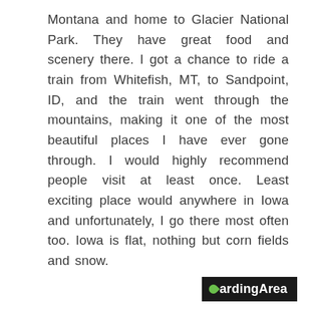Montana and home to Glacier National Park. They have great food and scenery there. I got a chance to ride a train from Whitefish, MT, to Sandpoint, ID, and the train went through the mountains, making it one of the most beautiful places I have ever gone through. I would highly recommend people visit at least once. Least exciting place would anywhere in Iowa and unfortunately, I go there most often too. Iowa is flat, nothing but corn fields and snow.
BoardingArea